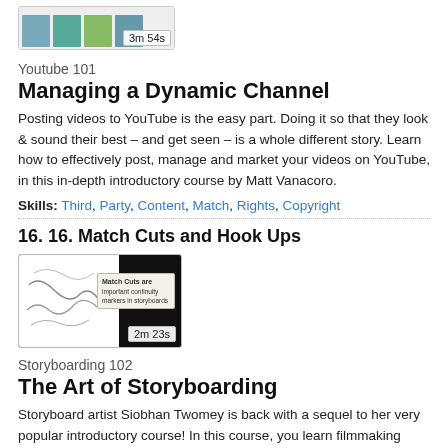[Figure (screenshot): Video thumbnail with colorful images strip showing duration badge '3m 54s']
Youtube 101
Managing a Dynamic Channel
Posting videos to YouTube is the easy part. Doing it so that they look & sound their best – and get seen – is a whole different story. Learn how to effectively post, manage and market your videos on YouTube, in this in-depth introductory course by Matt Vanacoro.
Skills: Third, Party, Content, Match, Rights, Copyright
16. 16. Match Cuts and Hook Ups
[Figure (screenshot): Video thumbnail with storyboard sketch and Match Cuts tooltip, duration badge '2m 23s']
Storyboarding 102
The Art of Storyboarding
Storyboard artist Siobhan Twomey is back with a sequel to her very popular introductory course! In this course, you learn filmmaking techniques and principles that are essential